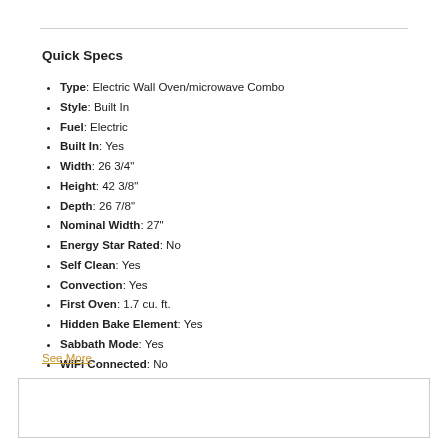Quick Specs
Type: Electric Wall Oven/microwave Combo
Style: Built In
Fuel: Electric
Built In: Yes
Width: 26 3/4"
Height: 42 3/8"
Depth: 26 7/8"
Nominal Width: 27"
Energy Star Rated: No
Self Clean: Yes
Convection: Yes
First Oven: 1.7 cu. ft.
Hidden Bake Element: Yes
Sabbath Mode: Yes
WiFi Connected: No
See More
Call for Our Best Price